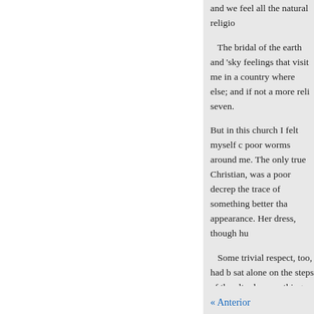and we feel all the natural religio
The bridal of the earth and 'sky feelings that visit me in a country where else; and if not a more reli seven.
But in this church I felt myself c poor worms around me. The only true Christian, was a poor decrep the trace of something better tha appearance. Her dress, though hu
Some trivial respect, too, had b sat alone on the steps of the alta have nothing left her but the hop prayer—habitually conning her p to read, but which she evidently arose to Heaven far before the re
I am fond of loitering about co attracted me. * Pron. iles. † Pron
« Anterior